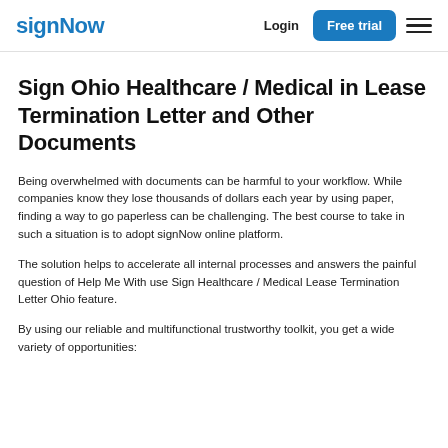signNow | Login | Free trial
Sign Ohio Healthcare / Medical in Lease Termination Letter and Other Documents
Being overwhelmed with documents can be harmful to your workflow. While companies know they lose thousands of dollars each year by using paper, finding a way to go paperless can be challenging. The best course to take in such a situation is to adopt signNow online platform.
The solution helps to accelerate all internal processes and answers the painful question of Help Me With use Sign Healthcare / Medical Lease Termination Letter Ohio feature.
By using our reliable and multifunctional trustworthy toolkit, you get a wide variety of opportunities: